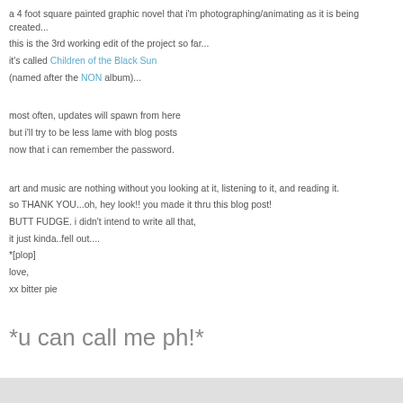a 4 foot square painted graphic novel that i'm photographing/animating as it is being created...
this is the 3rd working edit of the project so far...
it's called Children of the Black Sun
(named after the NON album)...
most often, updates will spawn from here
but i'll try to be less lame with blog posts
now that i can remember the password.
art and music are nothing without you looking at it, listening to it, and reading it.
so THANK YOU...oh, hey look!! you made it thru this blog post!
BUTT FUDGE. i didn't intend to write all that,
it just kinda..fell out....
*[plop]
love,
xx bitter pie
*u can call me ph!*